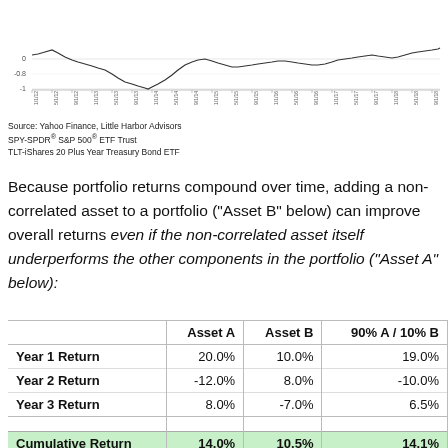[Figure (continuous-plot): Line chart showing rolling correlation between SPY and TLT from 1/1/12 to 1/1/22. Y-axis shows values from -1 to some positive value near top. The line dips to around -0.8 and shows varying correlation over time.]
Source: Yahoo Finance, Little Harbor Advisors
SPY-SPDR® S&P 500® ETF Trust
TLT-iShares 20 Plus Year Treasury Bond ETF
Because portfolio returns compound over time, adding a non-correlated asset to a portfolio (“Asset B” below) can improve overall returns even if the non-correlated asset itself underperforms the other components in the portfolio (“Asset A” below):
|  | Asset A | Asset B | 90% A / 10% B |
| --- | --- | --- | --- |
| Year 1 Return | 20.0% | 10.0% | 19.0% |
| Year 2 Return | -12.0% | 8.0% | -10.0% |
| Year 3 Return | 8.0% | -7.0% | 6.5% |
| Cumulative Return | 14.0% | 10.5% | 14.1% |